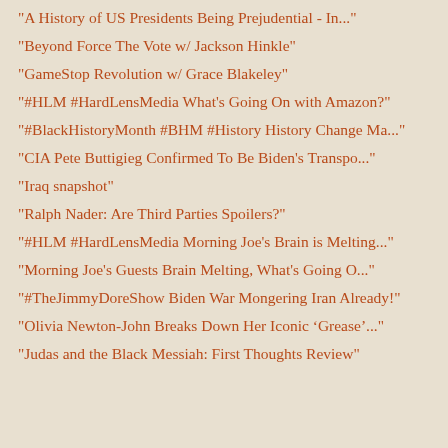"A History of US Presidents Being Prejudential - In..."
"Beyond Force The Vote w/ Jackson Hinkle"
"GameStop Revolution w/ Grace Blakeley"
"#HLM #HardLensMedia What's Going On with Amazon?"
"#BlackHistoryMonth #BHM #History History Change Ma..."
"CIA Pete Buttigieg Confirmed To Be Biden's Transpo..."
"Iraq snapshot"
"Ralph Nader: Are Third Parties Spoilers?"
"#HLM #HardLensMedia Morning Joe's Brain is Melting..."
"Morning Joe's Guests Brain Melting, What's Going O..."
"#TheJimmyDoreShow Biden War Mongering Iran Already!"
"Olivia Newton-John Breaks Down Her Iconic ‘Grease’..."
"Judas and the Black Messiah: First Thoughts Review"